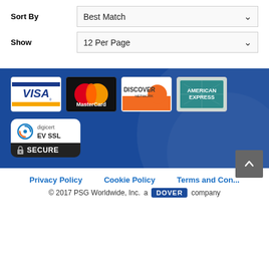Sort By
Best Match
Show
12 Per Page
[Figure (logo): Payment method logos: VISA, MasterCard, Discover Network, American Express]
[Figure (logo): DigiCert EV SSL Secure badge]
Privacy Policy   Cookie Policy   Terms and Con...
© 2017 PSG Worldwide, Inc.   a DOVER company